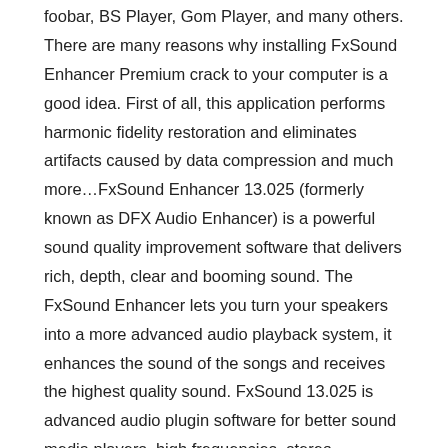foobar, BS Player, Gom Player, and many others. There are many reasons why installing FxSound Enhancer Premium crack to your computer is a good idea. First of all, this application performs harmonic fidelity restoration and eliminates artifacts caused by data compression and much more…FxSound Enhancer 13.025 (formerly known as DFX Audio Enhancer) is a powerful sound quality improvement software that delivers rich, depth, clear and booming sound. The FxSound Enhancer lets you turn your speakers into a more advanced audio playback system, it enhances the sound of the songs and receives the highest quality sound. FxSound 13.025 is advanced audio plugin software for better sound media players, high frequencies, stereo separation, surround modes and super bass. There FxSound is the universal audio adjustment software that comes with a lot of presets (predefined settings), skins, and more. The FxSound Enhancer enhances the sound of all audio streams such as Media players, Games, Internet browsers both music files as well as video content. It supports almost every application that plays audio